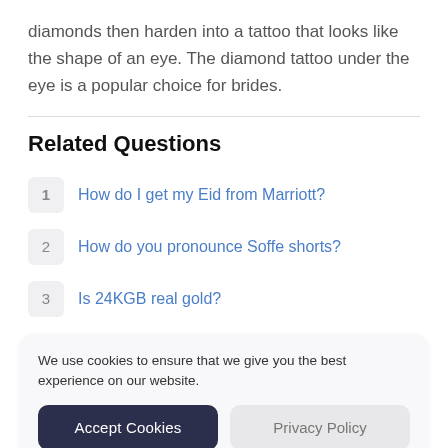diamonds then harden into a tattoo that looks like the shape of an eye. The diamond tattoo under the eye is a popular choice for brides.
Related Questions
How do I get my Eid from Marriott?
How do you pronounce Soffe shorts?
Is 24KGB real gold?
We use cookies to ensure that we give you the best experience on our website.